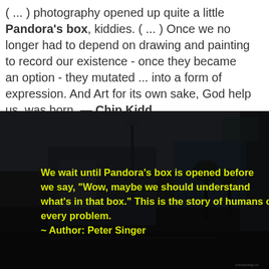( ... ) photography opened up quite a little Pandora's box, kiddies. ( ... ) Once we no longer had to depend on drawing and painting to record our existence - once they became an option - they mutated ... into a form of expression. And Art for its own sake, God help us, was born. — Chip Kidd
[Figure (photo): Dark, desaturated nighttime street scene with palm trees, lamp posts and buildings. Overlaid in yellow text: 'We wait until Pandora's box is opened before we say, "Wow, maybe we should understand what's in that box." This is the story of humans on every problem. ~ Author: Peter Singer']